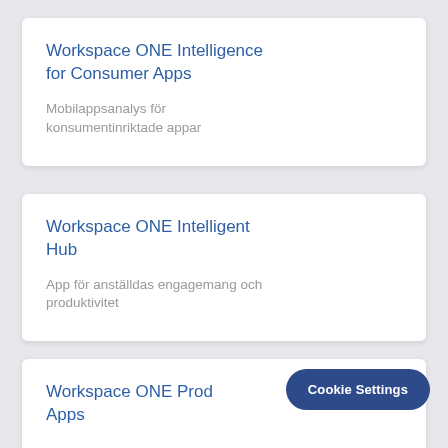Workspace ONE Intelligence for Consumer Apps
Mobilappsanalys för konsumentinriktade appar
Workspace ONE Intelligent Hub
App för anställdas engagemang och produktivitet
Workspace ONE Prod... Apps
Cookie Settings